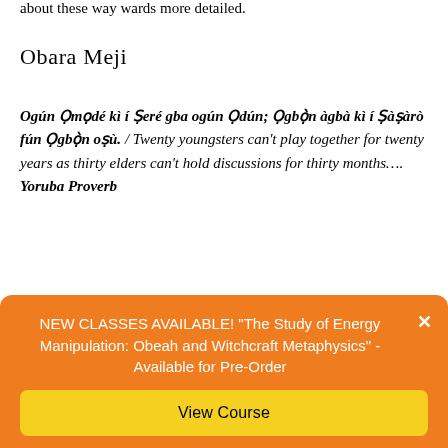about these way wards more detailed.
Obara Meji
Ogún Ọmọdé kì í Şeré gba ogún Ọdún; Ọgbọ̀n àgbà kì í Şàşàrò fún Ọgbọ̀n oşù. / Twenty youngsters can't play together for twenty years as thirty elders can't hold discussions for thirty months…. Yoruba Proverb
[Change is inevitable]
NEW CLASSES AVAILABLE! "The Study of Energy Manipulation: Obeah and Witchcraft Metaphysics" - Available for Pre-Order
View Course